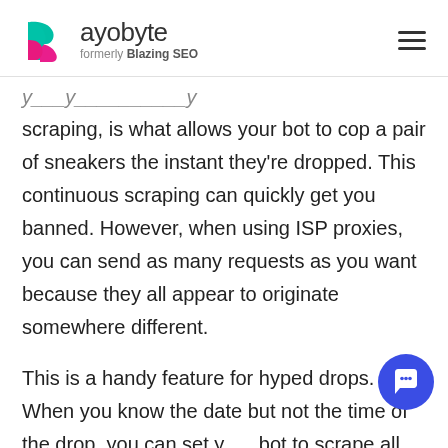rayobyte — formerly Blazing SEO
scraping, is what allows your bot to cop a pair of sneakers the instant they're dropped. This continuous scraping can quickly get you banned. However, when using ISP proxies, you can send as many requests as you want because they all appear to originate somewhere different.
This is a handy feature for hyped drops. When you know the date but not the time of the drop, you can set your bot to scrape all day, so you don't have to keep m… checking.